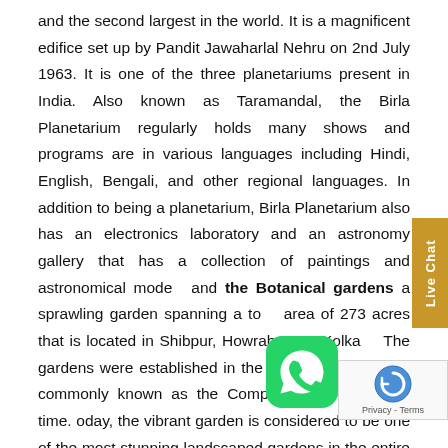and the second largest in the world. It is a magnificent edifice set up by Pandit Jawaharlal Nehru on 2nd July 1963. It is one of the three planetariums present in India. Also known as Taramandal, the Birla Planetarium regularly holds many shows and programs are in various languages including Hindi, English, Bengali, and other regional languages. In addition to being a planetarium, Birla Planetarium also has an electronics laboratory and an astronomy gallery that has a collection of paintings and astronomical models and the Botanical gardens a sprawling garden spanning a total area of 273 acres that is located in Shibpur, Howrah, near Kolkata. The gardens were established in the year 1787 and were commonly known as the Company Garden in that time. oday, the vibrant garden is considered to be one of the most stunning landscaped gardens in the entire country with undulating land topography and astonishing artificial lakes. It is ideal for nature lovers to visit this area and to spend quality peaceful time in the lap of nature at the gardens.